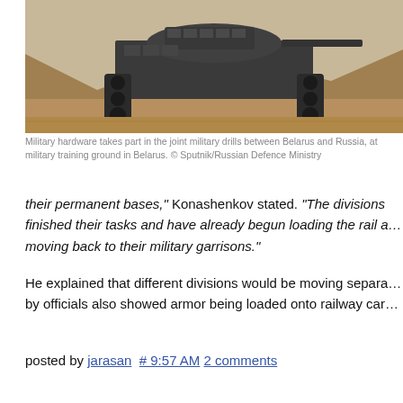[Figure (photo): Military tank in a trench/dirt embankment during joint military drills between Belarus and Russia]
Military hardware takes part in the joint military drills between Belarus and Russia, at military training ground in Belarus. © Sputnik/Russian Defence Ministry
their permanent bases," Konashenkov stated. "The divisions finished their tasks and have already begun loading the rail a... moving back to their military garrisons."
He explained that different divisions would be moving separately by officials also showed armor being loaded onto railway car...
posted by jarasan # 9:57 AM 2 comments